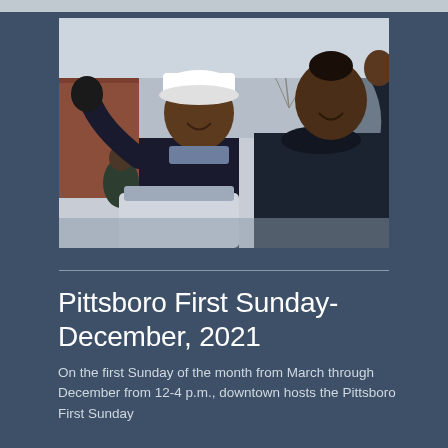[Figure (photo): Two people waving and smiling outdoors in winter clothes. One person wears a white hat, the other a dark puffy jacket. Background shows bare trees and buildings. Other people visible in the background.]
Pittsboro First Sunday- December, 2021
On the first Sunday of the month from March through December from 12-4 p.m., downtown hosts the Pittsboro First Sunday